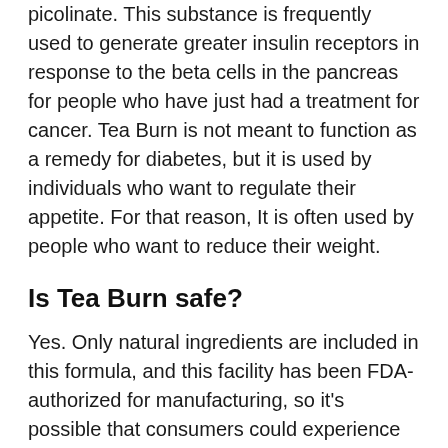picolinate. This substance is frequently used to generate greater insulin receptors in response to the beta cells in the pancreas for people who have just had a treatment for cancer. Tea Burn is not meant to function as a remedy for diabetes, but it is used by individuals who want to regulate their appetite. For that reason, It is often used by people who want to reduce their weight.
Is Tea Burn safe?
Yes. Only natural ingredients are included in this formula, and this facility has been FDA-authorized for manufacturing, so it's possible that consumers could experience side effects. Those with a medical concern may want a medical doctor's input before starting a Tea Burn regimen. Tea Burn contains caffeine. It is a stimulant. The recommended dosage for Tea Burn per day is between 120 and 160 mg of caffeine, depending